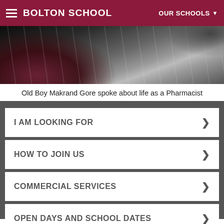BOLTON SCHOOL | OUR SCHOOLS
[Figure (photo): Blurry photo of what appears to be stone floor tiles with dark shapes, possibly feet or legs visible]
Old Boy Makrand Gore spoke about life as a Pharmacist
I AM LOOKING FOR
HOW TO JOIN US
COMMERCIAL SERVICES
OPEN DAYS AND SCHOOL DATES